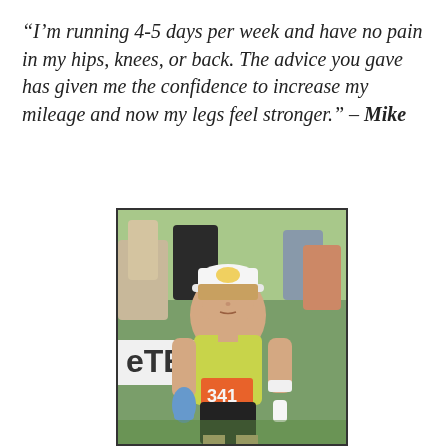“I’m running 4-5 days per week and have no pain in my hips, knees, or back. The advice you gave has given me the confidence to increase my mileage and now my legs feel stronger.” – Mike
[Figure (photo): A female runner wearing a white cap, yellow-green tank top, and race bib number 341, running in an outdoor race while holding a water bottle. Other race participants and spectators are visible in the background.]